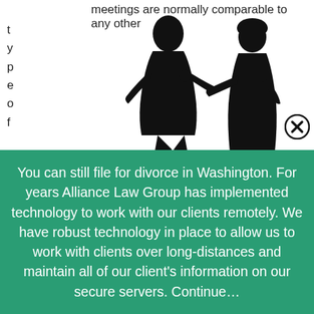meetings are normally comparable to any other
t
y
p
e
o
f
[Figure (illustration): Silhouette of a man and woman arguing, facing each other, man pointing finger, woman pointing back with hand on hip.]
[Figure (other): Close button (X in circle) in top right of green banner]
You can still file for divorce in Washington. For years Alliance Law Group has implemented technology to work with our clients remotely. We have robust technology in place to allow us to work with clients over long-distances and maintain all of our client's information on our secure servers. Continue…